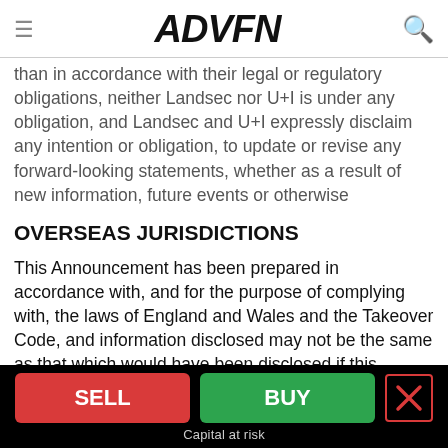ADVFN
than in accordance with their legal or regulatory obligations, neither Landsec nor U+I is under any obligation, and Landsec and U+I expressly disclaim any intention or obligation, to update or revise any forward-looking statements, whether as a result of new information, future events or otherwise
OVERSEAS JURISDICTIONS
This Announcement has been prepared in accordance with, and for the purpose of complying with, the laws of England and Wales and the Takeover Code, and information disclosed may not be the same as that which would have been disclosed if this Announcement had been prepared in